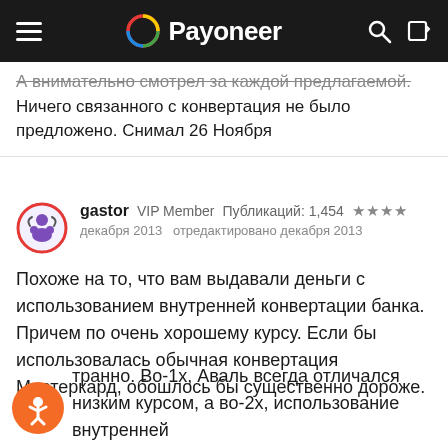Payoneer
А внимательно смотрел за каждой предлагаемой. Ничего связанного с конвертация не было предложено. Снимал 26 Ноября
gastor  VIP Member  Публикаций: 1,454  ★★★★
декабря 2013  отредактировано декабря 2013

Похоже на то, что вам выдавали деньги с использованием внутренней конвертации банка. Причем по очень хорошему курсу. Если бы использовалась обычная конвертация Мастеркард, обошлось бы существенно дороже.
транно. Во-1х, Аваль всегда отличался низким ом, а во-2х, использование внутренней